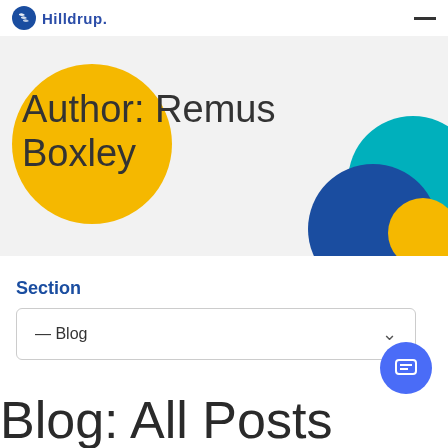Hilldrup.
Author: Remus Boxley
Section
— Blog
Blog: All Posts